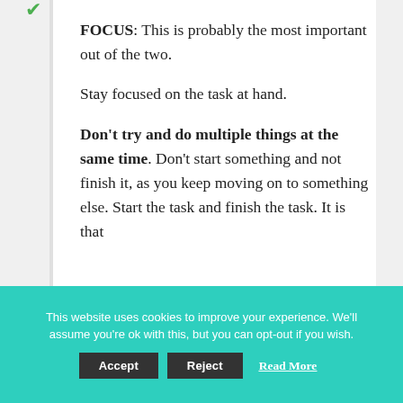FOCUS: This is probably the most important out of the two. Stay focused on the task at hand. Don't try and do multiple things at the same time. Don't start something and not finish it, as you keep moving on to something else. Start the task and finish the task. It is that
This website uses cookies to improve your experience. We'll assume you're ok with this, but you can opt-out if you wish.